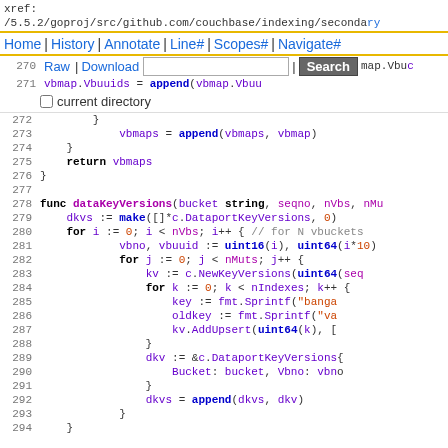xref:
/5.5.2/goproj/src/github.com/couchbase/indexing/secondary
Home | History | Annotate | Line# | Scopes# | Navigate#
270 Raw | Download [Search box] | Search map.Vbu
271 vbmap.Vbuuids = append(vbmap.Vbuu
□₂current directory
Code lines 272-294
[Figure (screenshot): Source code viewer showing Go code for dataKeyVersions function, lines 272-294]